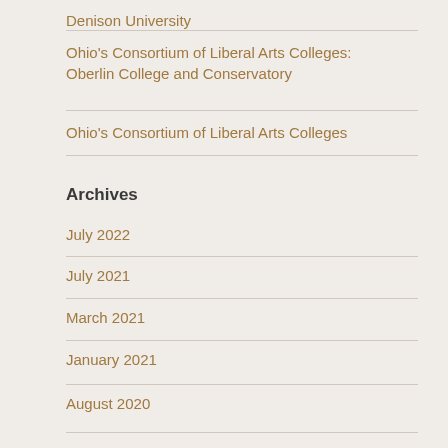Denison University
Ohio's Consortium of Liberal Arts Colleges: Oberlin College and Conservatory
Ohio's Consortium of Liberal Arts Colleges
Archives
July 2022
July 2021
March 2021
January 2021
August 2020